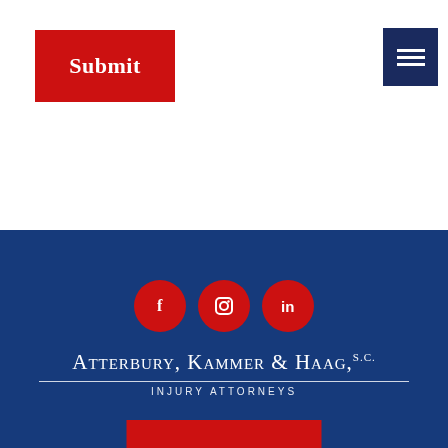[Figure (other): Red Submit button in upper left of page]
[Figure (other): Dark navy hamburger menu icon in upper right]
[Figure (other): Footer section with blue background, three red circular social media icons (Facebook, Instagram, LinkedIn), firm logo with name Atterbury, Kammer & Haag, S.C. and tagline INJURY ATTORNEYS, and partial red button at bottom]
Atterbury, Kammer & Haag, S.C.
INJURY ATTORNEYS